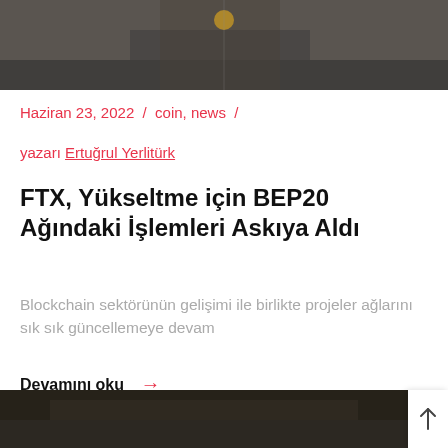[Figure (photo): Aerial/overhead dark photo, partially cropped at top of page]
Haziran 23, 2022 / coin, news /
yazarı Ertuğrul Yerlitürk
FTX, Yükseltme için BEP20 Ağındaki İşlemleri Askıya Aldı
Blockchain sektörünün gelişimi ile birlikte projeler ağlarını sık sık güncellemeye devam
Devamını oku →
[Figure (photo): Dark photo at bottom of page, partially cropped]